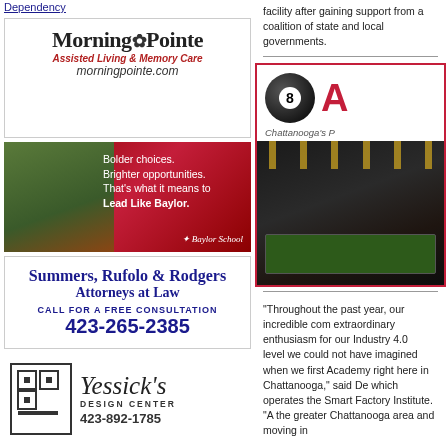Dependency
[Figure (logo): Morning Pointe Assisted Living & Memory Care advertisement with website morningpointe.com]
[Figure (illustration): Baylor School advertisement with text: Bolder choices. Brighter opportunities. That's what it means to Lead Like Baylor.]
[Figure (illustration): Summers, Rufolo & Rodgers Attorneys at Law advertisement. CALL FOR A FREE CONSULTATION. 423-265-2385]
[Figure (logo): Yessick's Design Center advertisement with logo and phone number 423-892-1785]
[Figure (illustration): Renew Vehicle Tags Online - Attention Motorists advertisement with Tennessee license plate TEN-1796 and LEARN MORE button]
[Figure (illustration): Davis & Hoss State and Federal Courts advertisement alongside Gault & Associates Inc. advertisement]
facility after gaining support from a coalition of state and local governments.
[Figure (photo): Partial advertisement for Ankarsb (Chattanooga's P...) showing a billiards/pool hall interior with pool tables and pendant lights. Website www.ankarsb shown at bottom.]
"Throughout the past year, our incredible com extraordinary enthusiasm for our Industry 4.0 level we could not have imagined when we first Academy right here in Chattanooga," said De which operates the Smart Factory Institute. "A the greater Chattanooga area and moving in